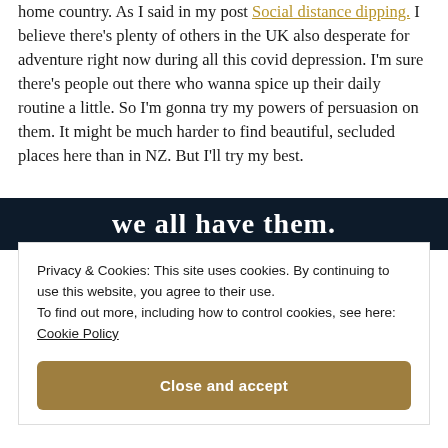home country. As I said in my post Social distance dipping. I believe there's plenty of others in the UK also desperate for adventure right now during all this covid depression. I'm sure there's people out there who wanna spice up their daily routine a little. So I'm gonna try my powers of persuasion on them. It might be much harder to find beautiful, secluded places here than in NZ. But I'll try my best.
[Figure (other): Dark navy banner with bold white text partially visible: 'we all have them.']
Privacy & Cookies: This site uses cookies. By continuing to use this website, you agree to their use.
To find out more, including how to control cookies, see here: Cookie Policy
[Close and accept button]